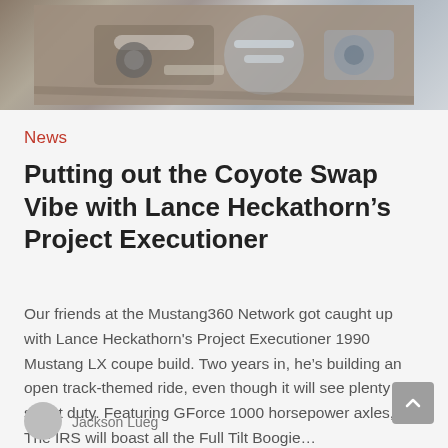[Figure (photo): Close-up photo of automotive suspension/axle components, mechanical parts visible in a workshop setting]
News
Putting out the Coyote Swap Vibe with Lance Heckathorn’s Project Executioner
Our friends at the Mustang360 Network got caught up with Lance Heckathorn's Project Executioner 1990 Mustang LX coupe build. Two years in, he’s building an open track-themed ride, even though it will see plenty of street duty. Featuring GForce 1000 horsepower axles, The IRS will boast all the Full Tilt Boogie…
Jackson Lueg